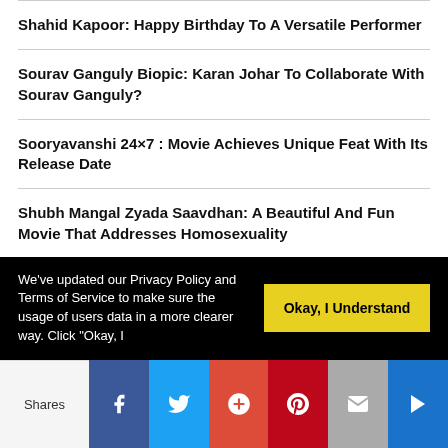Shahid Kapoor: Happy Birthday To A Versatile Performer
Sourav Ganguly Biopic: Karan Johar To Collaborate With Sourav Ganguly?
Sooryavanshi 24×7 : Movie Achieves Unique Feat With Its Release Date
Shubh Mangal Zyada Saavdhan: A Beautiful And Fun Movie That Addresses Homosexuality
Baaghi 3: Dus Bahane 2.0 Inspires Troll Fest
We've updated our Privacy Policy and Terms of Service to make sure the usage of users data in a more clearer way. Click "Okay, I
Okay, I Understand
Shares